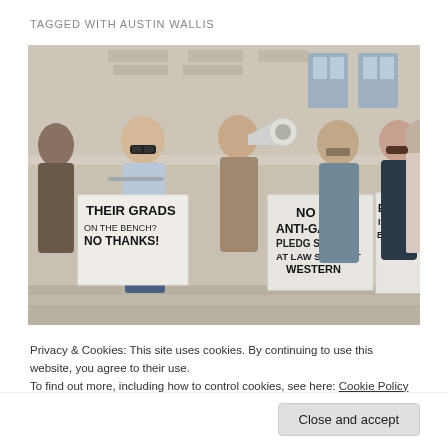TAGGED WITH AUSTIN WALLIS
[Figure (photo): Protest scene with people holding signs reading 'THEIR GRADS ON THE BENCH? NO THANKS!', 'NO ANTI-GAY PLEDG SAY NO AT LAW SC TRINIT WESTERN', and 'EQUALITY IN LEGAL EDUCATION'. One person is speaking into a megaphone.]
Privacy & Cookies: This site uses cookies. By continuing to use this website, you agree to their use.
To find out more, including how to control cookies, see here: Cookie Policy
Close and accept